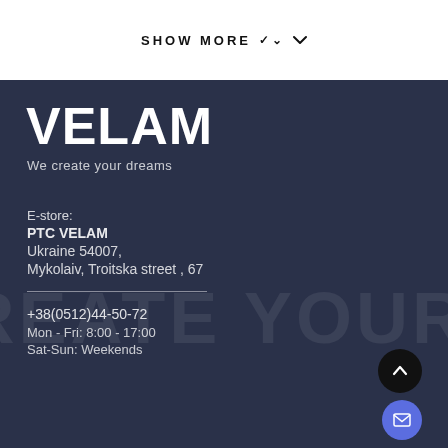SHOW MORE ∨
VELAM
We create your dreams
E-store:
PTC VELAM
Ukraine 54007,
Mykolaiv, Troitska street , 67
+38(0512)44-50-72
Mon - Fri: 8:00 - 17:00
Sat-Sun: Weekends